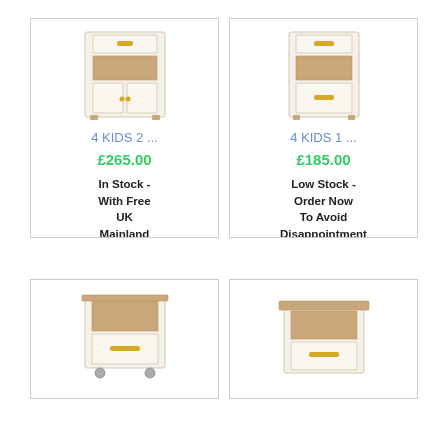[Figure (photo): White and oak 2-door cabinet with drawer and open shelf, gold handles]
4 KIDS 2 ...
£265.00
In Stock - With Free UK Mainland Delivery
[Figure (photo): White and oak 1-door cabinet with drawer and open shelf, gold handle]
4 KIDS 1 ...
£185.00
Low Stock - Order Now To Avoid Disappointment
[Figure (photo): White and oak bedside cabinet with drawer and open shelf on wheels]
[Figure (photo): White and oak low bedside table with drawer and open shelf, gold handle]